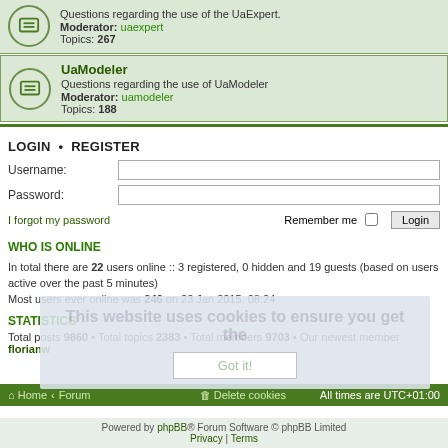Questions regarding the use of the UaExpert. Moderator: uaexpert Topics: 267
UaModeler
Questions regarding the use of UaModeler Moderator: uamodeler Topics: 188
LOGIN • REGISTER
Username:
Password:
I forgot my password
Remember me
WHO IS ONLINE
In total there are 22 users online :: 3 registered, 0 hidden and 19 guests (based on users active over the past 5 minutes)
Most users ever online was 246 on 23 Jan 2015, 08:24
STATISTICS
Total posts 9860 • Total topics 2383 • Total members 9703 • Our newest member florianw
Home • Forum   Delete cookies   All times are UTC+01:00
Powered by phpBB® Forum Software © phpBB Limited
Privacy | Terms